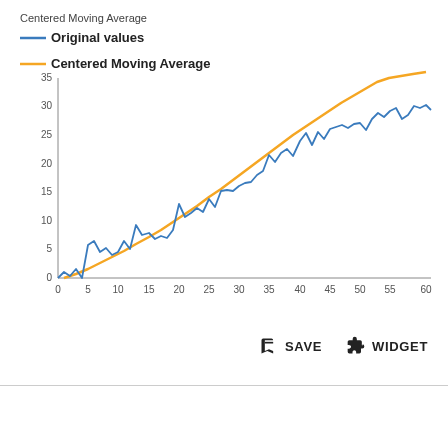[Figure (continuous-plot): Line chart showing original values (blue, noisy upward trend) and Centered Moving Average (orange, smooth upward line) from x=0 to x=62, y=0 to y=35.]
SAVE   WIDGET